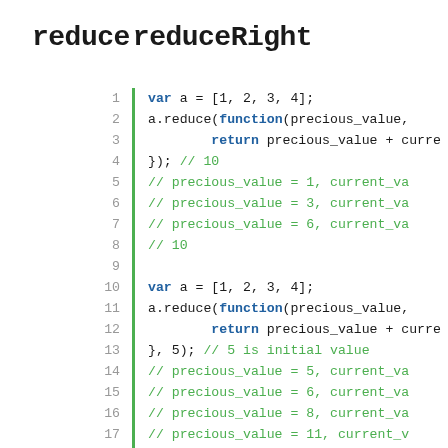reduce​reduceRight
Code snippet showing JavaScript reduce and reduceRight usage with line numbers 1-21